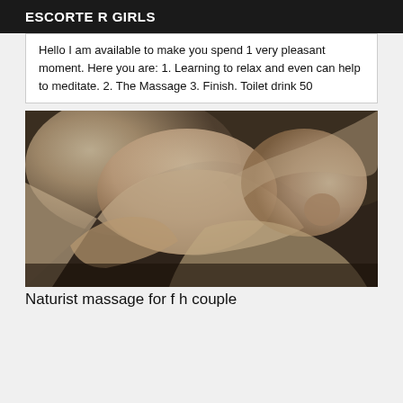ESCORTE R GIRLS
Hello I am available to make you spend 1 very pleasant moment. Here you are: 1. Learning to relax and even can help to meditate. 2. The Massage 3. Finish. Toilet drink 50
[Figure (photo): Black and white photograph showing two people in an intimate/naturist massage context]
Naturist massage for f h couple